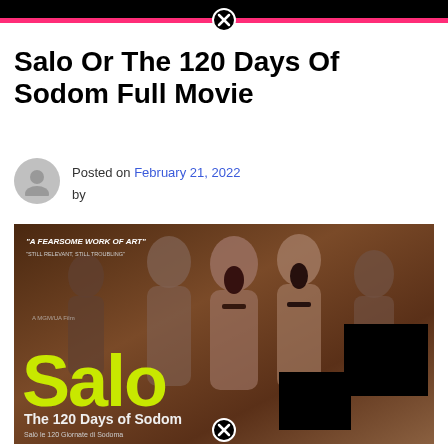Salo Or The 120 Days Of Sodom Full Movie
Posted on February 21, 2022 by
[Figure (photo): Movie poster for 'Salo, or the 120 Days of Sodom' in black and white with yellow-green 'Salo' title text. Includes review quotes: 'A FEARSOME WORK OF ART' and 'STILL RELEVANT, STILL TROUBLING'. Subtitle: 'The 120 Days of Sodom'. Portions of the image are censored with black rectangles.]